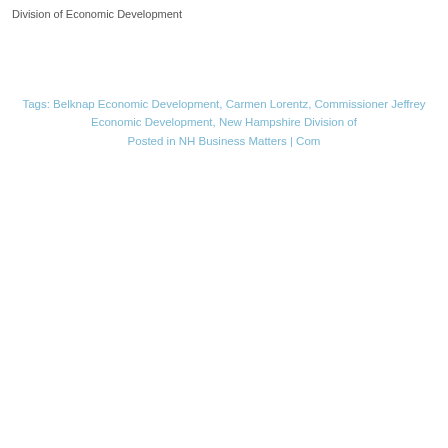Division of Economic Development
Tags: Belknap Economic Development, Carmen Lorentz, Commissioner Jeffrey Economic Development, New Hampshire Division of Posted in NH Business Matters | Com